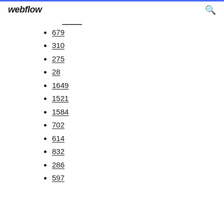webflow
679
310
275
28
1649
1521
1584
702
614
832
286
597